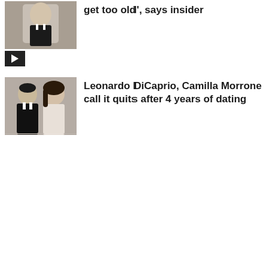[Figure (photo): Man in suit at awards event, holding Oscar trophy]
get too old', says insider
[Figure (other): Video play button thumbnail]
[Figure (photo): Man and woman posing together, couple photo]
Leonardo DiCaprio, Camilla Morrone call it quits after 4 years of dating